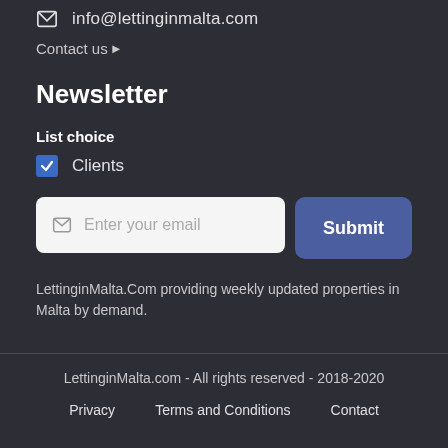info@lettinginmalta.com
Contact us ▶
Newsletter
List choice
✓ Clients
Enter your email
Submit
LettinginMalta.Com providing weekly updated properties in Malta by demand.
LettinginMalta.com - All rights reserved - 2018-2020
Privacy   Terms and Conditions   Contact